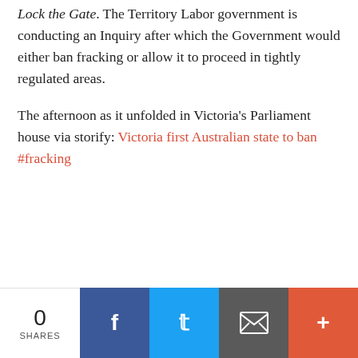Lock the Gate. The Territory Labor government is conducting an Inquiry after which the Government would either ban fracking or allow it to proceed in tightly regulated areas.
The afternoon as it unfolded in Victoria's Parliament house via storify: Victoria first Australian state to ban #fracking
0 SHARES | Facebook | Twitter | Email | More